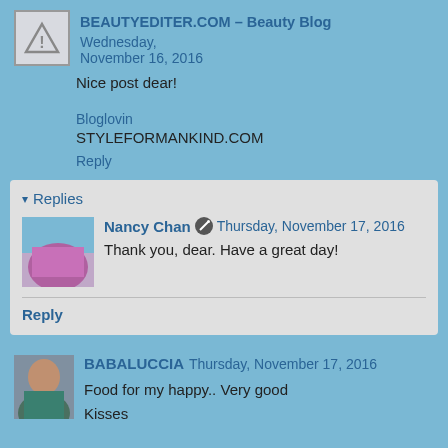BEAUTYEDITER.COM – Beauty Blog  Wednesday, November 16, 2016
Nice post dear!
Bloglovin
STYLEFORMANKIND.COM
Reply
▾ Replies
Nancy Chan  Thursday, November 17, 2016
Thank you, dear. Have a great day!
Reply
BABALUCCIA  Thursday, November 17, 2016
Food for my happy.. Very good
Kisses